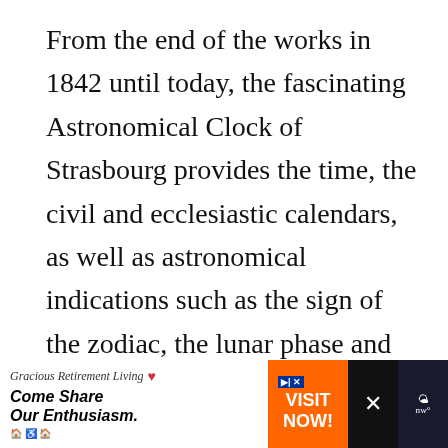From the end of the works in 1842 until today, the fascinating Astronomical Clock of Strasbourg provides the time, the civil and ecclesiastic calendars, as well as astronomical indications such as the sign of the zodiac, the lunar phase and the position of many planets.

The seven days of the week are indicated by deities in chariots: Apollo (Sunday), Diana (Monday), Mars (Tuesday), Mercury (Wednesday), Jupiter (Thursday), Venus (Friday)...
[Figure (other): Advertisement banner: Gracious Retirement Living with heart logo, 'Come Share Our Enthusiasm.' tagline, VISIT NOW! call-to-action button, and a close/weather widget on the right.]